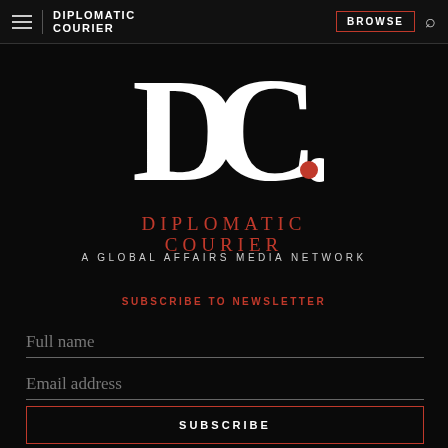DIPLOMATIC COURIER | BROWSE
[Figure (logo): Diplomatic Courier logo: large white DC. with red dot, and red text DIPLOMATIC COURIER below]
A GLOBAL AFFAIRS MEDIA NETWORK
SUBSCRIBE TO NEWSLETTER
Full name
Email address
SUBSCRIBE